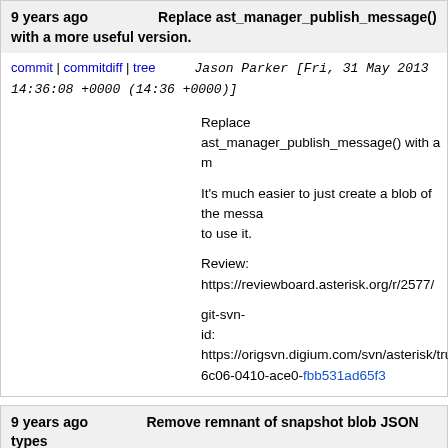9 years ago   Replace ast_manager_publish_message() with a more useful version.
commit | commitdiff | tree   Jason Parker [Fri, 31 May 2013 14:36:08 +0000 (14:36 +0000)]
Replace ast_manager_publish_message() with a m

It's much easier to just create a blob of the messa to use it.

Review: https://reviewboard.asterisk.org/r/2577/

git-svn-id: https://origsvn.digium.com/svn/asterisk/trunk@ 6c06-0410-ace0-fbb531ad65f3
9 years ago   Remove remnant of snapshot blob JSON types
commit | commitdiff | tree   Kinsey Moore [Fri, 31 May 2013 12:41:10 +0000 (12:41 +0000)]
Remove remnant of snapshot blob JSON types

Remove usage of the once-mandatory snapshot blob type field, refactor confbridge stasis messages accordingly, and remo